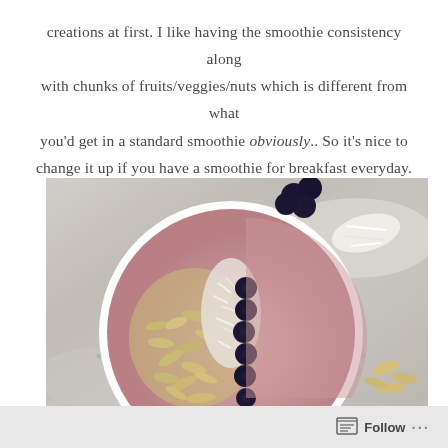creations at first. I like having the smoothie consistency along with chunks of fruits/veggies/nuts which is different from what you'd get in a standard smoothie obviously.. So it's nice to change it up if you have a smoothie for breakfast everyday.
[Figure (photo): Overhead photo of a smoothie bowl topped with sliced almonds, shredded coconut, and fresh blueberries arranged in sections, on a marble surface with scattered almonds, blueberries, and coconut nearby.]
Follow